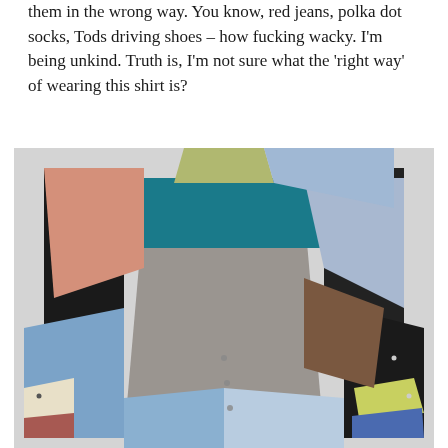them in the wrong way. You know, red jeans, polka dot socks, Tods driving shoes – how fucking wacky. I'm being unkind. Truth is, I'm not sure what the 'right way' of wearing this shirt is?
[Figure (photo): Back view of a patchwork shirt made from multiple fabric panels in various colors: teal, black, salmon/pink, grey, blue, brown, olive/yellow-green, and light blue. The shirt is displayed on an invisible mannequin against a light grey background.]